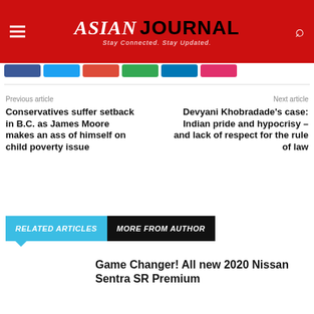ASIAN JOURNAL — Stay Connected. Stay Updated.
Previous article
Next article
Conservatives suffer setback in B.C. as James Moore makes an ass of himself on child poverty issue
Devyani Khobradade's case: Indian pride and hypocrisy – and lack of respect for the rule of law
RELATED ARTICLES   MORE FROM AUTHOR
Game Changer! All new 2020 Nissan Sentra SR Premium